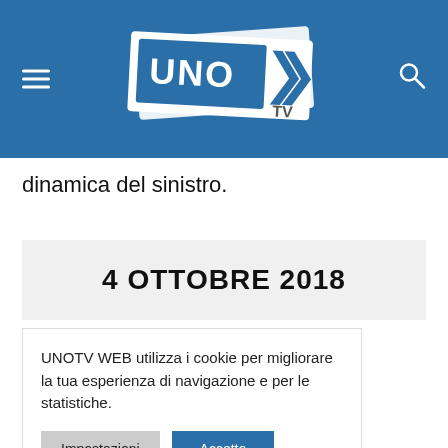[Figure (logo): UNO TV logo — white stylized banner shapes with 'UNO' in large letters and double chevron arrows with 'TV' below, on a blue background header bar]
dinamica del sinistro.
4 OTTOBRE 2018
UNOTV WEB utilizza i cookie per migliorare la tua esperienza di navigazione e per le statistiche.